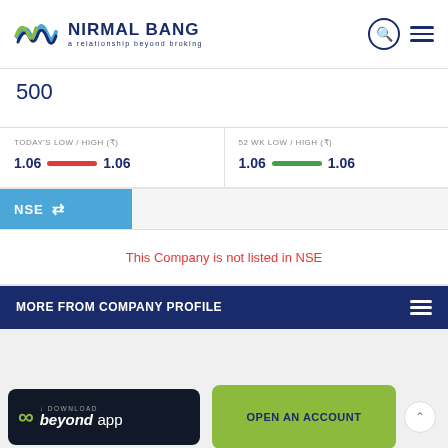[Figure (logo): Nirmal Bang logo with tagline 'a relationship beyond broking']
500
TODAY'S LOW / HIGH (₹)
1.06  ——  1.06
52 WK LOW / HIGH (₹)
1.06  ——  1.06
NSE ⇌
This Company is not listed in NSE
MORE FROM COMPANY PROFILE
[Figure (screenshot): Download Beyond App button and Open An Account button at the bottom of the page]